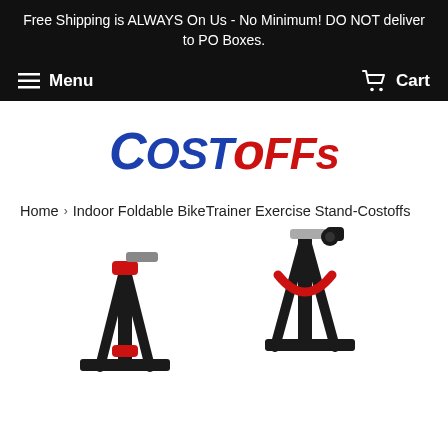Free Shipping is ALWAYS On Us - No Minimum! DO NOT deliver to PO Boxes.
Menu   Cart
[Figure (logo): CostOFFs logo in italic bold font, 'Cost' in blue and 'OFFs' in red]
Home > Indoor Foldable BikeTrainer Exercise Stand-Costoffs
[Figure (photo): Indoor Foldable Bike Trainer Exercise Stand product photo showing black metal frame with red accents]